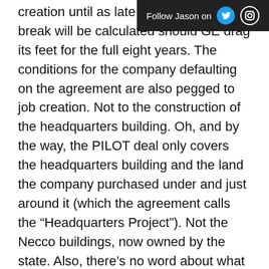Follow Jason on
creation until as late as 2029, the tax break will be calculated should GE drag its feet for the full eight years. The conditions for the company defaulting on the agreement are also pegged to job creation. Not to the construction of the headquarters building. Oh, and by the way, the PILOT deal only covers the headquarters building and the land the company purchased under and just around it (which the agreement calls the “Headquarters Project”). Not the Necco buildings, now owned by the state. Also, there’s no word about what happens if the company has less than 400 workers in Boston at any point from 2024 to 2037. Do these curious contradictions amount to loopholes for GE to bag the whole deal? It certainly looks that way.